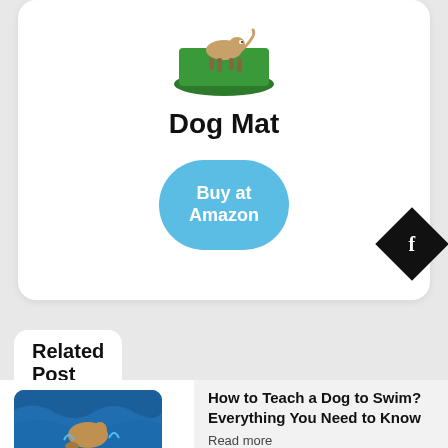[Figure (photo): A dog standing on a green grass mat product image, partially visible at top of card]
Dog Mat
Buy at Amazon
[Figure (logo): Facebook badge icon — black diamond shape with white letter f]
Related Post
[Figure (photo): A dog swimming in blue water, thumbnail for related post]
How to Teach a Dog to Swim? Everything You Need to Know
Read more